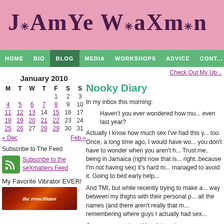Jamye Waxman
HOME  BIO  BLOG  MEDIA  WORKSHOPS  ADVICE  CONT...
Check Out My Up...
| M | T | W | T | F | S | S |
| --- | --- | --- | --- | --- | --- | --- |
|  |  |  |  | 1 | 2 | 3 |
| 4 | 5 | 6 | 7 | 8 | 9 | 10 |
| 11 | 12 | 13 | 14 | 15 | 16 | 17 |
| 18 | 19 | 20 | 21 | 22 | 23 | 24 |
| 25 | 26 | 27 | 28 | 29 | 30 | 31 |
« Dec   Feb »
Subscribe to The Feed
Subscribe to the seXmatters Feed
My Favorite Vibrator EVER!
[Figure (photo): the eroscillator product image]
Nooky Diary
In my inbox this morning:
Haven't you ever wondered how mu... even last year?
Actually I know how much sex I've had this y... too. Once, a long time ago, I would have wo... you don't have to wonder when you aren't h... Trust me, being in Jamaica (right now that is... right..because I'm not having sex) it's hard m... managed to avoid it. Going to bed early help...
And TMI, but while recently trying to make a... way between my thighs with their personal p... all the names (and there aren't really that m... remembering where guys I actually had sex...
One more question. Why did you hav...